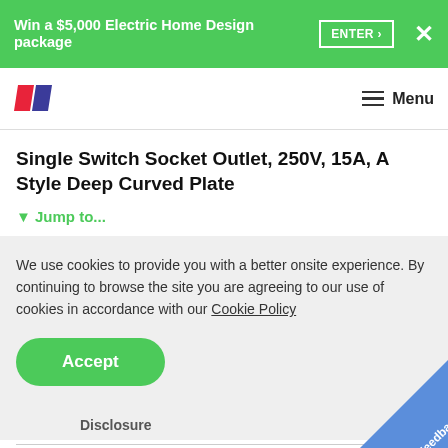Win a $5,000 Electric Home Design package  ENTER ›  ✕
[Figure (logo): HuffPost-style two-parallelogram logo in red and blue/purple]
≡  Menu
Single Switch Socket Outlet, 250V, 15A, A Style Deep Curved Plate
▼ Jump to...
We use cookies to provide you with a better onsite experience. By continuing to browse the site you are agreeing to our use of cookies in accordance with our Cookie Policy
Accept
Disclosure
[Figure (other): Blue triangle feedback tab in bottom-right corner with 'Feedback' text rotated 45 degrees]